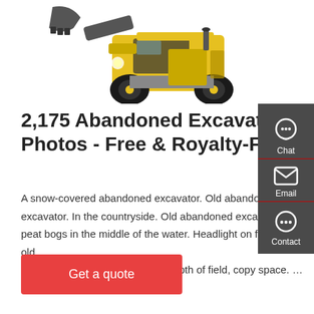[Figure (photo): Yellow front-loader excavator/wheel loader seen from the front-left angle, partially cropped at top, on white background]
2,175 Abandoned Excavator Photos - Free & Royalty-Free
A snow-covered abandoned excavator. Old abandoned excavator. In the countryside. Old abandoned excavator on peat bogs in the middle of the water. Headlight on focus on old abandoned excavator. Shallow depth of field, copy space. …
Get a quote